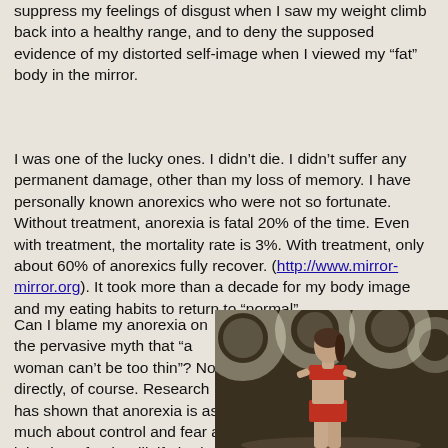suppress my feelings of disgust when I saw my weight climb back into a healthy range, and to deny the supposed evidence of my distorted self-image when I viewed my “fat” body in the mirror.
I was one of the lucky ones. I didn’t die. I didn’t suffer any permanent damage, other than my loss of memory. I have personally known anorexics who were not so fortunate. Without treatment, anorexia is fatal 20% of the time. Even with treatment, the mortality rate is 3%. With treatment, only about 60% of anorexics fully recover. (http://www.mirror-mirror.org). It took more than a decade for my body image and my eating habits to return to “normal”.
Can I blame my anorexia on the pervasive myth that “a woman can’t be too thin”? Not directly, of course. Research has shown that anorexia is as much about control and fear as it is about food. Still, if I hadn’t felt fat, I wouldn’t have
[Figure (photo): A thin female model in a red bikini top and red shorts walking on a runway or stage, with large bokeh light circles in the background.]